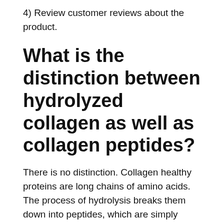4) Review customer reviews about the product.
What is the distinction between hydrolyzed collagen as well as collagen peptides?
There is no distinction. Collagen healthy proteins are long chains of amino acids. The process of hydrolysis breaks them down into peptides, which are simply much shorter chains of amino acids. Collagen supplements are variously labeled as “hydrolyzed collagen” or “collagen peptides,” however